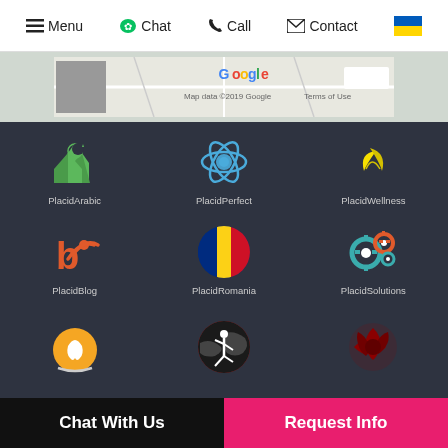Menu  Chat  Call  Contact
[Figure (screenshot): Google Maps strip showing map data 2019 Google, Terms of Use]
[Figure (logo): PlacidArabic logo - green mosque silhouette with crescent star]
[Figure (logo): PlacidPerfect logo - blue atom/molecule icon]
[Figure (logo): PlacidWellness logo - yellow leaves]
[Figure (logo): PlacidBlog logo - red blog/RSS icon]
[Figure (logo): PlacidRomania logo - Romanian flag circle]
[Figure (logo): PlacidSolutions logo - teal and red gears]
[Figure (logo): Dental/tooth logo - orange globe with tooth]
[Figure (logo): Yoga/fitness logo - dark red circle with yoga figure]
[Figure (logo): Dark red flower/dragon logo]
Chat With Us   Request Info